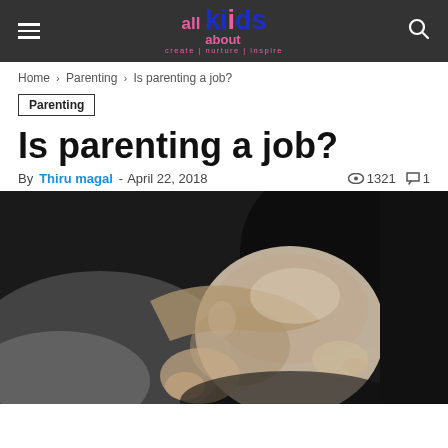all about kids — create | nurture | inspire
Home › Parenting › Is parenting a job?
Parenting
Is parenting a job?
By Thiru magal - April 22, 2018 | 1321 views | 1 comment
[Figure (photo): Black and white close-up photo of a mother holding a newborn baby, the baby's head and a hand visible, intimate parenting moment]